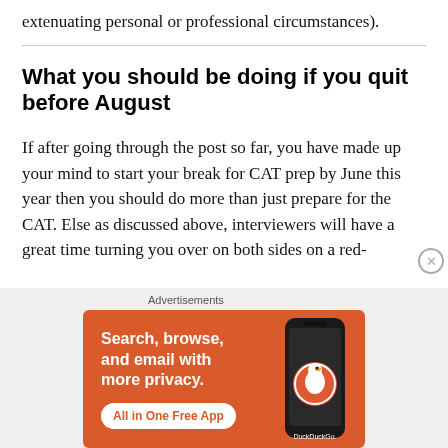extenuating personal or professional circumstances).
What you should be doing if you quit before August
If after going through the post so far, you have made up your mind to start your break for CAT prep by June this year then you should do more than just prepare for the CAT. Else as discussed above, interviewers will have a great time turning you over on both sides on a red-
[Figure (screenshot): DuckDuckGo advertisement banner with orange background. Text reads: Search, browse, and email with more privacy. All in One Free App. Shows a smartphone with DuckDuckGo logo.]